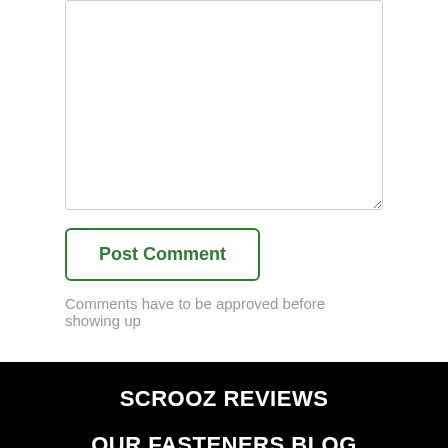[Figure (screenshot): Comment textarea input field]
Post Comment
Comments have to be approved before showing up
SCROOZ REVIEWS
OUR FASTENERS BLOG
ABOUT US
OUR SHIPPING
SHIPPING FAQ
PAYMENTS WE TAKE